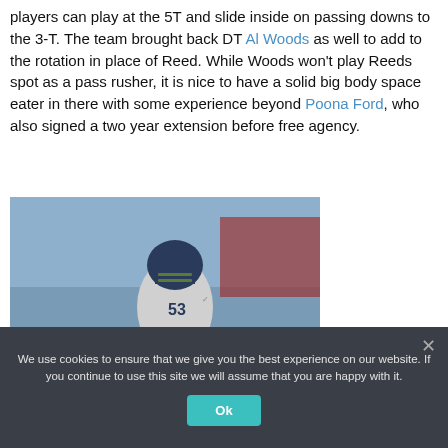players can play at the 5T and slide inside on passing downs to the 3-T. The team brought back DT Al Woods as well to add to the rotation in place of Reed. While Woods won't play Reeds spot as a pass rusher, it is nice to have a solid big body space eater in there with some experience beyond Poona Ford, who also signed a two year extension before free agency.
[Figure (photo): NFL player in Seattle Seahawks uniform wearing helmet number 53, in a crouching stance during a game]
We use cookies on our website to give you the most
We use cookies to ensure that we give you the best experience on our website. If you continue to use this site we will assume that you are happy with it.